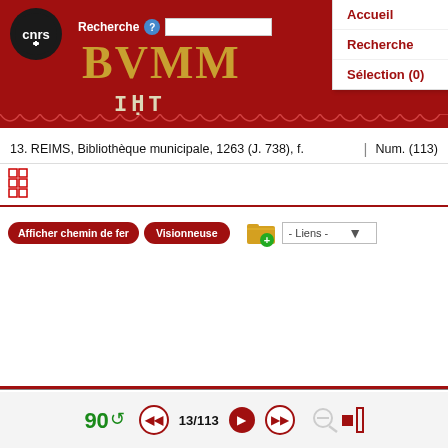[Figure (screenshot): BVMM (Bibliothèque virtuelle des manuscrits médiévaux) website header with CNRS logo, Recherche search bar, navigation menu (Accueil, Recherche, Sélection(0)), and BVMM title in gold letters on red background]
13. REIMS, Bibliothèque municipale, 1263 (J. 738), f.   |   Num. (113)
[Figure (other): Small red grid/thumbnail icon]
[Figure (other): Toolbar with buttons: Afficher chemin de fer, Visionneuse, folder icon with green plus, and Liens dropdown]
[Figure (other): Bottom navigation bar with rotation control showing 90 with green arrow, prev/play/next buttons, page count 13/113, zoom minus/square/bar controls]